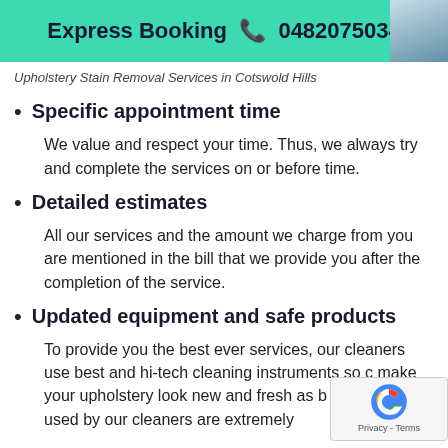Express Booking ☎ 0482075034
Upholstery Stain Removal Services in Cotswold Hills
Specific appointment time
We value and respect your time. Thus, we always try and complete the services on or before time.
Detailed estimates
All our services and the amount we charge from you are mentioned in the bill that we provide you after the completion of the service.
Updated equipment and safe products
To provide you the best ever services, our cleaners use best and hi-tech cleaning instruments so c... make your upholstery look new and fresh as b... The products used by our cleaners are extremely